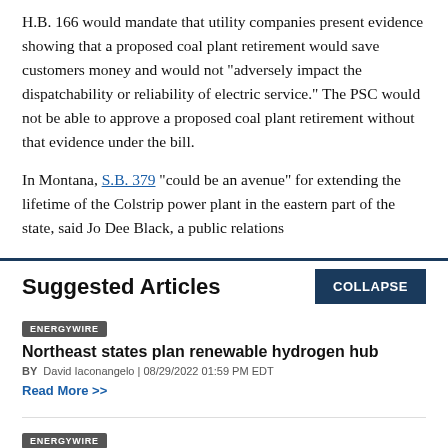H.B. 166 would mandate that utility companies present evidence showing that a proposed coal plant retirement would save customers money and would not "adversely impact the dispatchability or reliability of electric service." The PSC would not be able to approve a proposed coal plant retirement without that evidence under the bill.
In Montana, S.B. 379 "could be an avenue" for extending the lifetime of the Colstrip power plant in the eastern part of the state, said Jo Dee Black, a public relations
Suggested Articles
ENERGYWIRE
Northeast states plan renewable hydrogen hub
BY David Iaconangelo | 08/29/2022 01:59 PM EDT
Read More >>
ENERGYWIRE
Trouble on pipeline's path hits home for Manchin